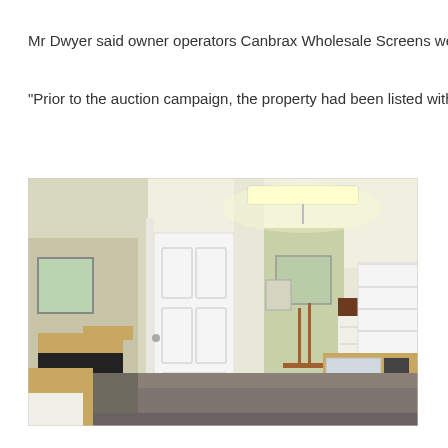Mr Dwyer said owner operators Canbrax Wholesale Screens were
“Prior to the auction campaign, the property had been listed with c
[Figure (photo): Interior photo of an office space with cream/yellow walls, grey carpet, white shelving units on the right, a dark wood reception-style counter in the center, an open white panelled door, and windows visible in the background letting in natural light. A fluorescent strip light is mounted on the ceiling.]